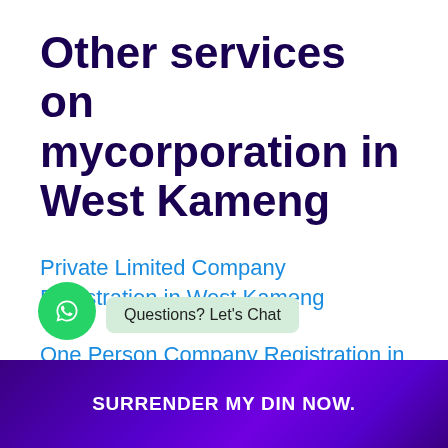Other services on mycorporation in West Kameng
Private Limited Company Registration in West Kameng
One Person Company Registration in West Kameng
[Figure (other): WhatsApp chat button (green circle with WhatsApp icon) and a tooltip bubble reading 'Questions? Let's Chat']
SURRENDER MY DIN NOW.